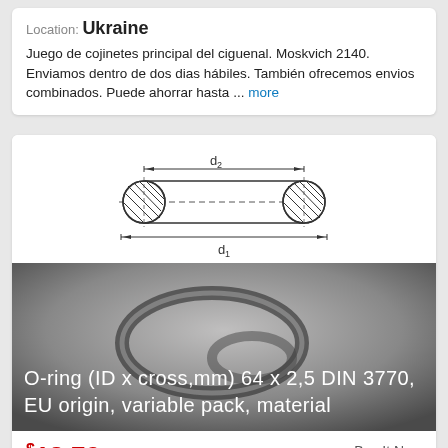Location: Ukraine
Juego de cojinetes principal del ciguenal. Moskvich 2140. Enviamos dentro de dos dias hábiles. También ofrecemos envios combinados. Puede ahorrar hasta ... more
[Figure (engineering-diagram): Technical diagram of an O-ring cross-section showing d2 (inner diameter) and d1 (outer diameter) dimensions with hatched circle ends and center-line]
[Figure (photo): Photo of O-ring rubber seals with text overlay: O-ring (ID x cross,mm) 64 x 2,5 DIN 3770, EU origin, variable pack, material]
$13.72
Buy It Now
Free Shipping
Condition: New
Location: Czech Republic